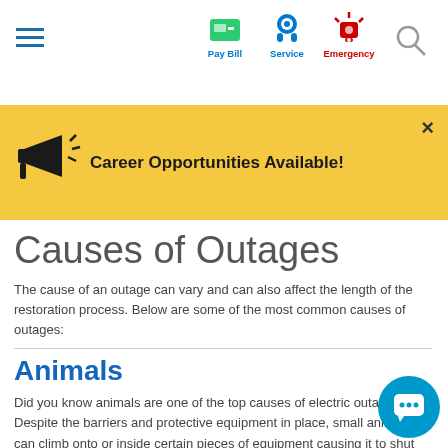Navigation bar with hamburger menu, Pay Bill, Service, Emergency, Search icons
Career Opportunities Available!
Causes of Outages
The cause of an outage can vary and can also affect the length of the restoration process. Below are some of the most common causes of outages:
Animals
Did you know animals are one of the top causes of electric outages? Despite the barriers and protective equipment in place, small animals can climb onto or inside certain pieces of equipment causing it to shut down, thus interrupting the flow of power to your area.